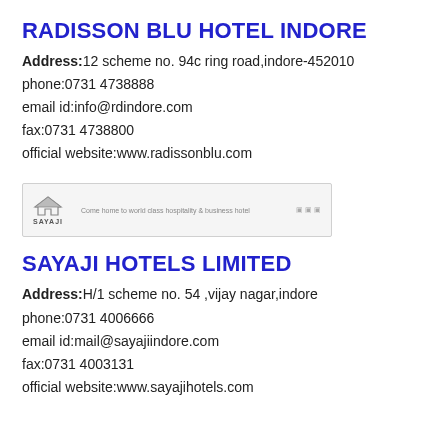RADISSON BLU HOTEL INDORE
Address:12 scheme no. 94c ring road,indore-452010
phone:0731 4738888
email id:info@rdindore.com
fax:0731 4738800
official website:www.radissonblu.com
[Figure (logo): Sayaji Hotels banner with logo and tagline]
SAYAJI HOTELS LIMITED
Address:H/1 scheme no. 54 ,vijay nagar,indore
phone:0731 4006666
email id:mail@sayajiindore.com
fax:0731 4003131
official website:www.sayajihotels.com